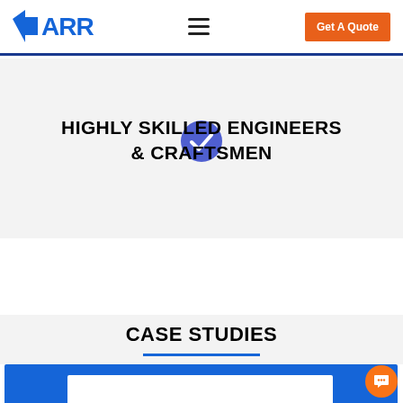ARRK — Get A Quote
[Figure (logo): ARRK company logo in blue with a geometric arrow shape]
HIGHLY SKILLED ENGINEERS & CRAFTSMEN
CASE STUDIES
[Figure (screenshot): Blue card section showing beginning of a case study panel with a white inner card]